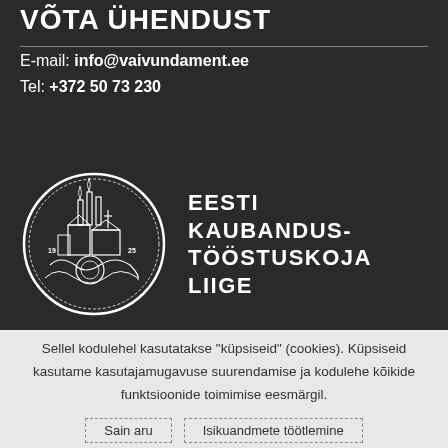VÕTA ÜHENDUST
E-mail: info@vaivundament.ee
Tel: +372 50 73 230
[Figure (logo): Eesti Kaubandus-Tööstuskoja Liige circular logo with industrial imagery and text]
EESTI KAUBANDUS-TÖÖSTUSKOJA LIIGE
Sellel kodulehel kasutatakse "küpsiseid" (cookies). Küpsiseid kasutame kasutajamugavuse suurendamise ja kodulehe kõikide funktsioonide toimimise eesmärgil.
Sain aru
Isikuandmete töötlemine